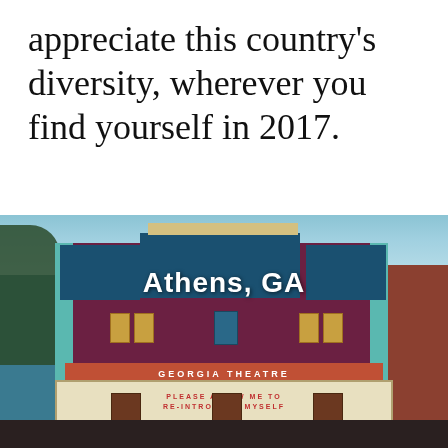appreciate this country's diversity, wherever you find yourself in 2017.
[Figure (photo): Photograph of the Georgia Theatre in Athens, GA. The building has a dark red/maroon facade with teal/blue accent columns and a theatre marquee reading 'GEORGIA THEATRE' and 'PLEASE ALLOW ME TO RE-INTRODUCE MYSELF'. The text overlay 'Athens, GA' appears in white bold font over the building. Blue sky and trees visible in the background.]